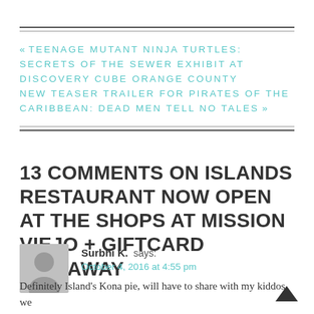« TEENAGE MUTANT NINJA TURTLES: SECRETS OF THE SEWER EXHIBIT AT DISCOVERY CUBE ORANGE COUNTY
NEW TEASER TRAILER FOR PIRATES OF THE CARIBBEAN: DEAD MEN TELL NO TALES »
13 COMMENTS ON ISLANDS RESTAURANT NOW OPEN AT THE SHOPS AT MISSION VIEJO + GIFTCARD GIVEAWAY
Surbhi K. says: October 4, 2016 at 4:55 pm
Definitely Island's Kona pie, will have to share with my kiddos, we